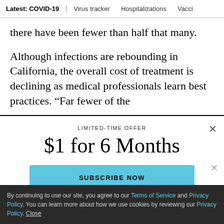Latest: COVID-19 | Virus tracker | Hospitalizations | Vacci
there have been fewer than half that many.
Although infections are rebounding in California, the overall cost of treatment is declining as medical professionals learn best practices. “Far fewer of the
LIMITED-TIME OFFER
$1 for 6 Months
SUBSCRIBE NOW
By continuing to use our site, you agree to our Terms of Service and Privacy Policy. You can learn more about how we use cookies by reviewing our Privacy Policy. Close